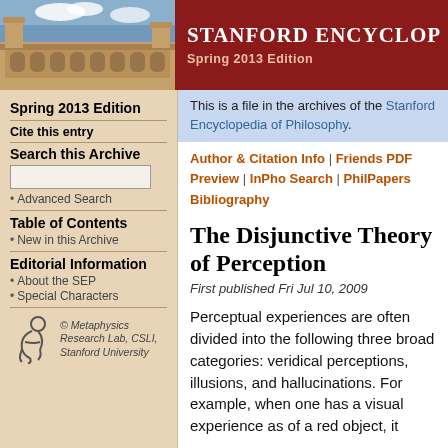[Figure (photo): Photo of Stanford University building/quad with stone architecture and blue sky, alongside Stanford Encyclopedia of Philosophy red header banner reading 'Stanford Encyclop' and 'Spring 2013 Edition']
Spring 2013 Edition
Cite this entry
Search this Archive
Advanced Search
Table of Contents
New in this Archive
Editorial Information
About the SEP
Special Characters
© Metaphysics Research Lab, CSLI, Stanford University
This is a file in the archives of the Stanford Encyclopedia of Philosophy.
Author & Citation Info | Friends PDF Preview | InPho Search | PhilPapers Bibliography
The Disjunctive Theory of Perception
First published Fri Jul 10, 2009
Perceptual experiences are often divided into the following three broad categories: veridical perceptions, illusions, and hallucinations. For example, when one has a visual experience as of a red object, it